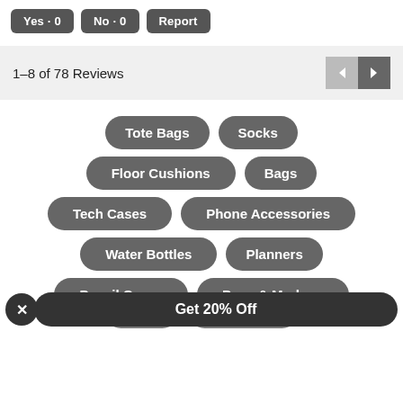Yes · 0
No · 0
Report
1–8 of 78 Reviews
Tote Bags
Socks
Floor Cushions
Bags
Tech Cases
Phone Accessories
Water Bottles
Planners
Pencil Cases
Pens & Markers
Get 20% Off
Mugs
Backpacks